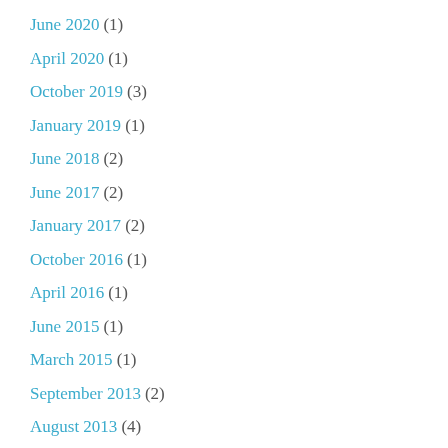June 2020 (1)
April 2020 (1)
October 2019 (3)
January 2019 (1)
June 2018 (2)
June 2017 (2)
January 2017 (2)
October 2016 (1)
April 2016 (1)
June 2015 (1)
March 2015 (1)
September 2013 (2)
August 2013 (4)
July 2013 (1)